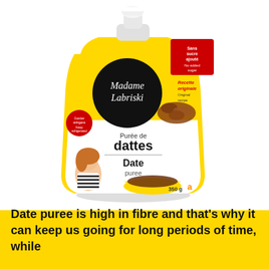[Figure (photo): A yellow squeeze pouch of Madame Labriski Date Puree (Purée de dattes) 350g, with a black circular logo, red badge reading 'Sans sucre ajouté / No added sugar', 'Recette originale / Original recipe' text, a woman with curly hair and glasses on the lower left of the pouch, dates and a yellow bowl on the pouch, against a white and yellow background.]
Date puree is high in fibre and that's why it can keep us going for long periods of time, while